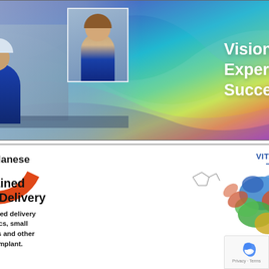[Figure (illustration): Advertisement showing a lab worker in blue coat and a smiling girl, overlaid with colorful wave design. Text reads: Vision. Expertise. Success.]
[Figure (illustration): Celanese VITALDose advertisement for Sustained Drug Delivery. Features molecular/antibody structures. Text: 'Sustained Drug Delivery. For targeted delivery of biologics, small molecules and other APIs via Implant.' Logos: Celanese, VITALDose.]